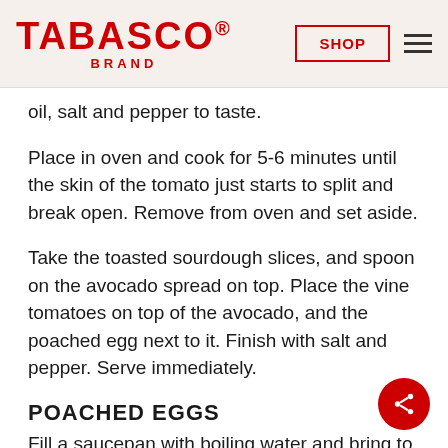TABASCO® BRAND — SHOP (navigation header)
oil, salt and pepper to taste.
Place in oven and cook for 5-6 minutes until the skin of the tomato just starts to split and break open. Remove from oven and set aside.
Take the toasted sourdough slices, and spoon on the avocado spread on top. Place the vine tomatoes on top of the avocado, and the poached egg next to it. Finish with salt and pepper. Serve immediately.
POACHED EGGS
Fill a saucepan with boiling water and bring to a simmer, about 350F.
Add 4 tbsp white wine vinegar and a pinch of salt.